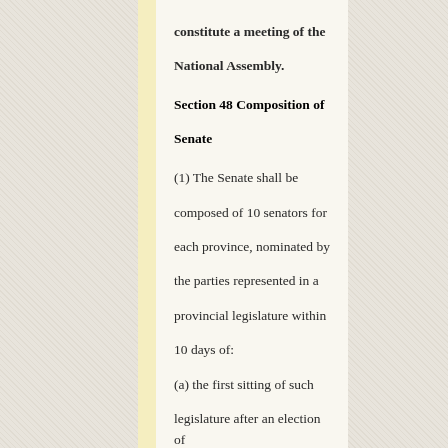constitute a meeting of the National Assembly.
Section 48 Composition of Senate
(1) The Senate shall be composed of 10 senators for each province, nominated by the parties represented in a provincial legislature within 10 days of:
(a) the first sitting of such legislature after an election of the legislature; or
(b) an election of the National Assembly held in pursuance